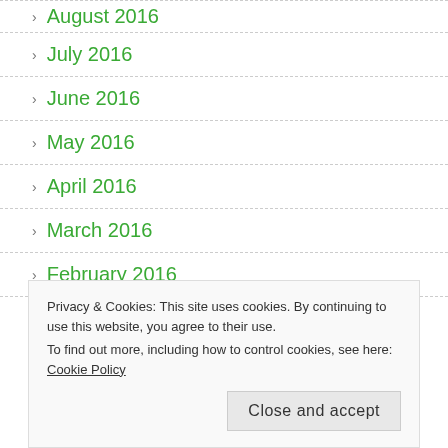August 2016
July 2016
June 2016
May 2016
April 2016
March 2016
February 2016
Privacy & Cookies: This site uses cookies. By continuing to use this website, you agree to their use.
To find out more, including how to control cookies, see here: Cookie Policy
Close and accept